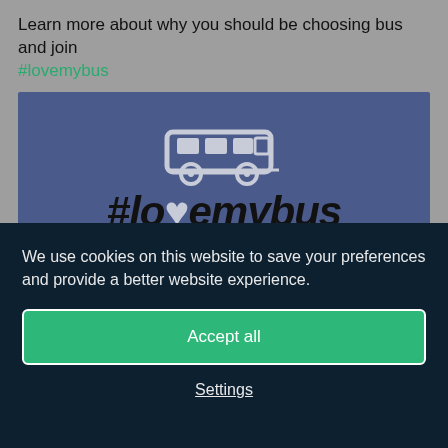Learn more about why you should be choosing bus and join #lovemybus
[Figure (logo): #lovemybus banner with bus icon and hashtag text on blue-grey background]
Plan your journey
From
We use cookies on this website to save your preferences and provide a better website experience.
Accept all
Settings